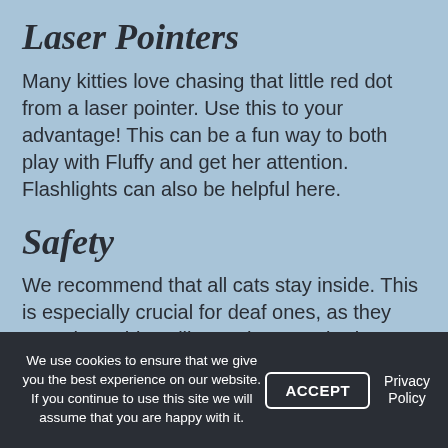Laser Pointers
Many kitties love chasing that little red dot from a laser pointer. Use this to your advantage! This can be a fun way to both play with Fluffy and get her attention. Flashlights can also be helpful here.
Safety
We recommend that all cats stay inside. This is especially crucial for deaf ones, as they won't hear things like car horns or brakes, barking dogs, or other sounds. Fluffy may enjoy a catio or enclosure, though.
Offer Safe Spots
Our feline buddies are very small and fragile, and they can
We use cookies to ensure that we give you the best experience on our website. If you continue to use this site we will assume that you are happy with it. ACCEPT Privacy Policy